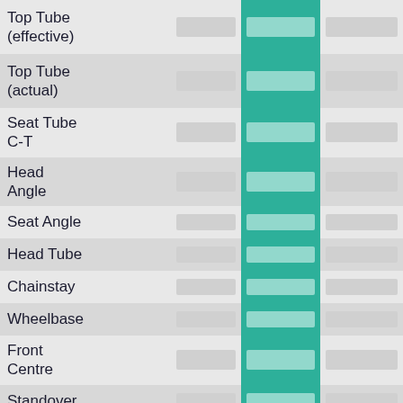| Measurement | Col1 | Col2 (highlighted) | Col3 | Col4 |
| --- | --- | --- | --- | --- |
| Top Tube (effective) |  |  |  |  |
| Top Tube (actual) |  |  |  |  |
| Seat Tube C-T |  |  |  |  |
| Head Angle |  |  |  |  |
| Seat Angle |  |  |  |  |
| Head Tube |  |  |  |  |
| Chainstay |  |  |  |  |
| Wheelbase |  |  |  |  |
| Front Centre |  |  |  |  |
| Standover |  |  |  |  |
| BB Drop |  |  |  |  |